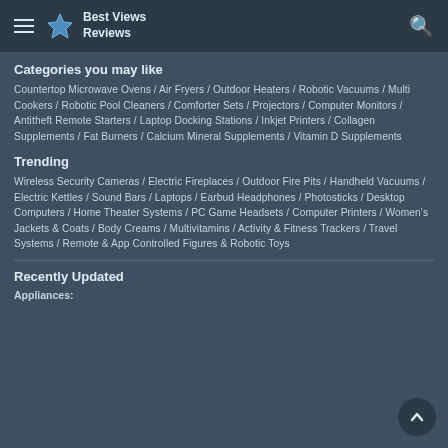Best Views Reviews
Categories you may like
Countertop Microwave Ovens / Air Fryers / Outdoor Heaters / Robotic Vacuums / Multi Cookers / Robotic Pool Cleaners / Comforter Sets / Projectors / Computer Monitors / Antitheft Remote Starters / Laptop Docking Stations / Inkjet Printers / Collagen Supplements / Fat Burners / Calcium Mineral Supplements / Vitamin D Supplements
Trending
Wireless Security Cameras / Electric Fireplaces / Outdoor Fire Pits / Handheld Vacuums / Electric Kettles / Sound Bars / Laptops / Earbud Headphones / Photosticks / Desktop Computers / Home Theater Systems / PC Game Headsets / Computer Printers / Women's Jackets & Coats / Body Creams / Multivitamins / Activity & Fitness Trackers / Travel Systems / Remote & App Controlled Figures & Robotic Toys
Recently Updated
Appliances: